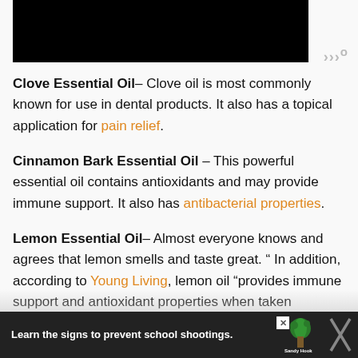[Figure (photo): Black image block at top of page (partially visible/cropped image)]
Clove Essential Oil– Clove oil is most commonly known for use in dental products. It also has a topical application for pain relief.
Cinnamon Bark Essential Oil – This powerful essential oil contains antioxidants and may provide immune support. It also has antibacterial properties.
Lemon Essential Oil– Almost everyone knows and agrees that lemon smells and taste great. " In addition, according to Young Living, lemon oil "provides immune support and antioxidant properties when taken
[Figure (infographic): Advertisement banner: Sandy Hook Promise ad with text 'Learn the signs to prevent school shootings.' and tree logo, close button, and partial Woo logo on right]